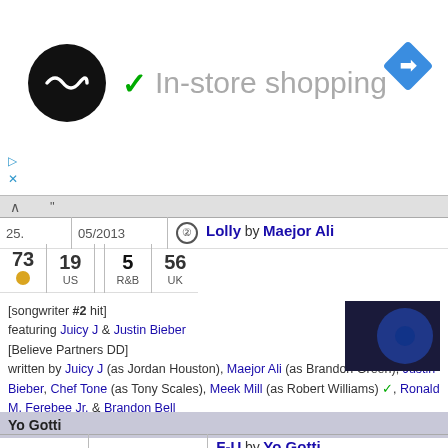[Figure (screenshot): Ad banner with black circular logo, green checkmark, 'In-store shopping' text, and blue navigation diamond icon]
| # | Date | Title/Artist |
| --- | --- | --- |
| 25. | 05/2013 | ② Lolly by Maejor Ali |
| Chart position | US | R&B | UK |
| --- | --- | --- | --- |
| 73 | 19 | 5 | 56 |
[songwriter #2 hit] featuring Juicy J & Justin Bieber [Believe Partners DD] written by Juicy J (as Jordan Houston), Maejor Ali (as Brandon Green), Justin Bieber, Chef Tone (as Tony Scales), Meek Mill (as Robert Williams) ✓, Ronald M. Ferebee Jr. & Brandon Bell
Yo Gotti
| # | Date | Title/Artist |
| --- | --- | --- |
| 26. | 02/2014 | F-U by Yo Gotti from I Am |
| Chart position | R&B |
| --- | --- |
| 1 | 107 |
featuring Meek Mill written by Yo Gotti (as Mario Mims), Meek Mill (as Robert Williams) ✓, Millie Jackson & Randy Klein
DJ Khaled